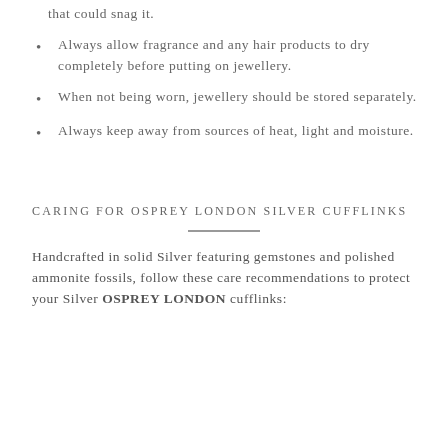that could snag it.
Always allow fragrance and any hair products to dry completely before putting on jewellery.
When not being worn, jewellery should be stored separately.
Always keep away from sources of heat, light and moisture.
CARING FOR OSPREY LONDON SILVER CUFFLINKS
Handcrafted in solid Silver featuring gemstones and polished ammonite fossils, follow these care recommendations to protect your Silver OSPREY LONDON cufflinks: